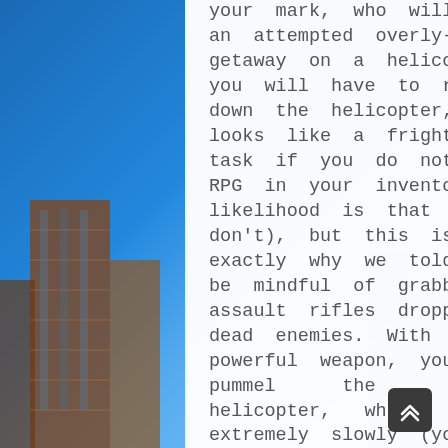your mark, who will make an attempted overly-grand getaway on a helicopter. you will have to require down the helicopter, which looks like a frightening task if you do not have an RPG in your inventory (and likelihood is that , you don't), but this is often exactly why we told you to be mindful of grabbing assault rifles dropped by dead enemies. With this powerful weapon, you'll pummel the enemy helicopter, which flies extremely slowly (you can shoot the gunner within